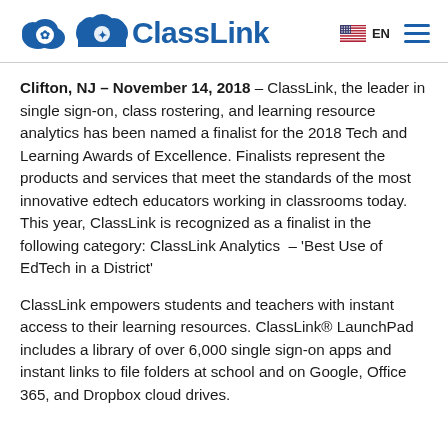ClassLink — EN
Clifton, NJ – November 14, 2018 – ClassLink, the leader in single sign-on, class rostering, and learning resource analytics has been named a finalist for the 2018 Tech and Learning Awards of Excellence. Finalists represent the products and services that meet the standards of the most innovative edtech educators working in classrooms today. This year, ClassLink is recognized as a finalist in the following category: ClassLink Analytics – 'Best Use of EdTech in a District'
ClassLink empowers students and teachers with instant access to their learning resources. ClassLink® LaunchPad includes a library of over 6,000 single sign-on apps and instant links to file folders at school and on Google, Office 365, and Dropbox cloud drives.